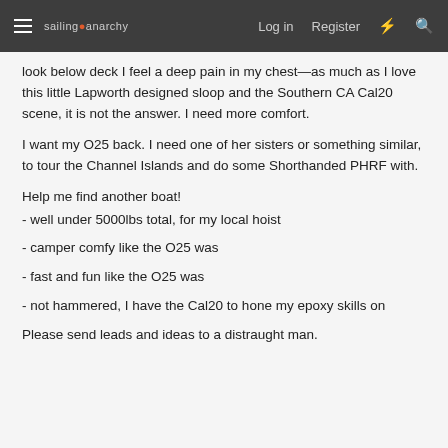sailing anarchy  Log in  Register
look below deck I feel a deep pain in my chest—as much as I love this little Lapworth designed sloop and the Southern CA Cal20 scene, it is not the answer. I need more comfort.
I want my O25 back. I need one of her sisters or something similar, to tour the Channel Islands and do some Shorthanded PHRF with.
Help me find another boat!
- well under 5000lbs total, for my local hoist
- camper comfy like the O25 was
- fast and fun like the O25 was
- not hammered, I have the Cal20 to hone my epoxy skills on
Please send leads and ideas to a distraught man.